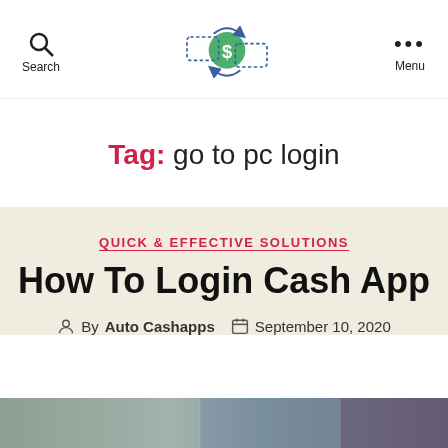Search | [Logo] | Menu
Tag: go to pc login
QUICK & EFFECTIVE SOLUTIONS
How To Login Cash App
By Auto Cashapps   September 10, 2020
[Figure (photo): Thumbnail image at bottom of page showing hands on a computer/device]